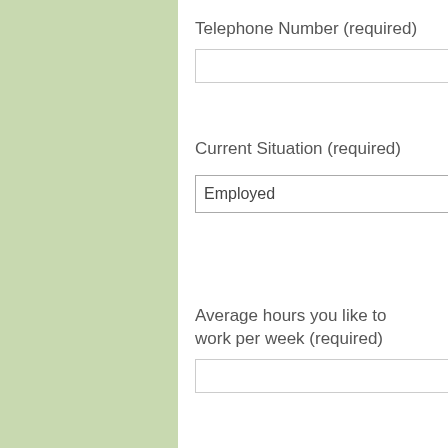Telephone Number (required)
Current Situation (required)
Average hours you like to work per week (required)
Do you have a client base already (required)
Year you qualified (required)
Number of years experience